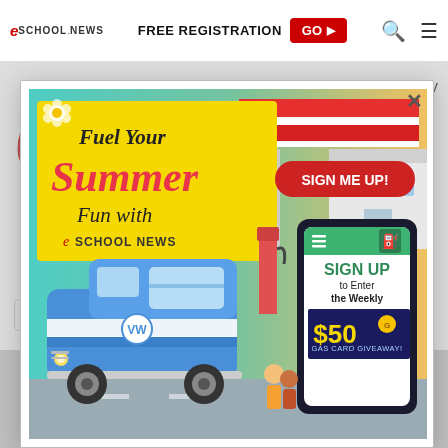eSchool News | FREE REGISTRATION GO ▶
[Figure (logo): eSchool News red 'e' logo mark]
eSchool Media staff cover education technology in all its aspects–from legislation and litigation, to best practices, to lessons learned and new products. First
Twitter
[Figure (advertisement): Fuel Your Summer Fun with eSchool News – Sign Me Up! Sign Up to Enter the Weekly $50 Gas Card Giveaway! Modal advertisement with a blue VW van at a gas station.]